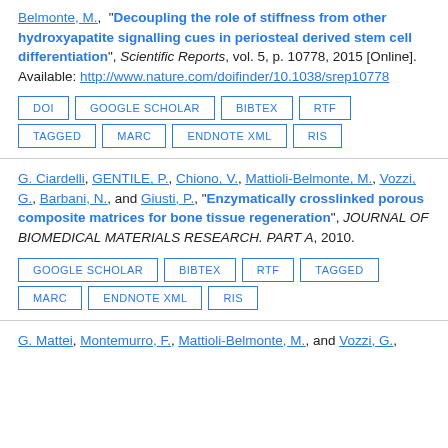Belmonte, M., "Decoupling the role of stiffness from other hydroxyapatite signalling cues in periosteal derived stem cell differentiation", Scientific Reports, vol. 5, p. 10778, 2015 [Online]. Available: http://www.nature.com/doifinder/10.1038/srep10778
DOI | GOOGLE SCHOLAR | BIBTEX | RTF | TAGGED | MARC | ENDNOTE XML | RIS
G. Ciardelli, GENTILE, P., Chiono, V., Mattioli-Belmonte, M., Vozzi, G., Barbani, N., and Giusti, P., "Enzymatically crosslinked porous composite matrices for bone tissue regeneration", JOURNAL OF BIOMEDICAL MATERIALS RESEARCH. PART A, 2010.
GOOGLE SCHOLAR | BIBTEX | RTF | TAGGED | MARC | ENDNOTE XML | RIS
G. Mattei, Montemurro, F., Mattioli-Belmonte, M., and Vozzi, G.,